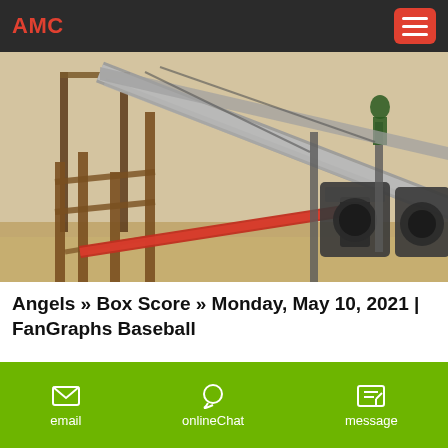AMC
[Figure (photo): Industrial conveyor belt and crushing/screening equipment on a sandy construction or mining site, showing metal framework, a red pipe, and heavy machinery on the right side.]
Angels » Box Score » Monday, May 10, 2021 | FanGraphs Baseball
May 10, 2021· Angels box score for Monday, May 10, 2021 with batting and pitching statistics … Win Probability & Box Scores … All major league baseball data including pitch type, velocity, batted ball ...
email   onlineChat   message